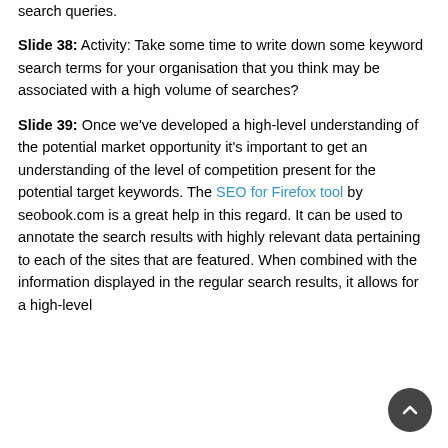search queries.
Slide 38: Activity: Take some time to write down some keyword search terms for your organisation that you think may be associated with a high volume of searches?
Slide 39: Once we've developed a high-level understanding of the potential market opportunity it's important to get an understanding of the level of competition present for the potential target keywords. The SEO for Firefox tool by seobook.com is a great help in this regard. It can be used to annotate the search results with highly relevant data pertaining to each of the sites that are featured. When combined with the information displayed in the regular search results, it allows for a high-level